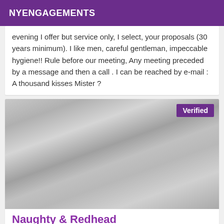NYENGAGEMENTS
evening I offer but service only, I select, your proposals (30 years minimum). I like men, careful gentleman, impeccable hygiene!! Rule before our meeting, Any meeting preceded by a message and then a call . I can be reached by e-mail : A thousand kisses Mister ?
[Figure (photo): Grayscale photo of a person's torso with hands, with a purple 'Verified' badge in the top right corner]
Naughty & Redhead
Outcall Trinity